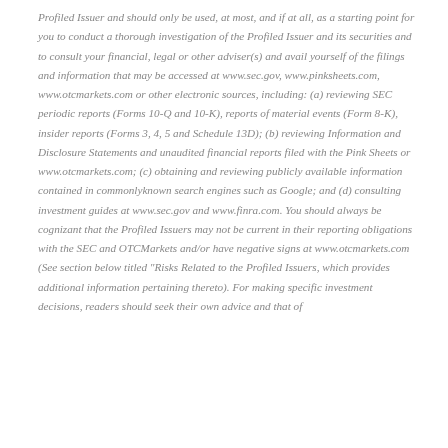Profiled Issuer and should only be used, at most, and if at all, as a starting point for you to conduct a thorough investigation of the Profiled Issuer and its securities and to consult your financial, legal or other adviser(s) and avail yourself of the filings and information that may be accessed at www.sec.gov, www.pinksheets.com, www.otcmarkets.com or other electronic sources, including: (a) reviewing SEC periodic reports (Forms 10-Q and 10-K), reports of material events (Form 8-K), insider reports (Forms 3, 4, 5 and Schedule 13D); (b) reviewing Information and Disclosure Statements and unaudited financial reports filed with the Pink Sheets or www.otcmarkets.com; (c) obtaining and reviewing publicly available information contained in commonlyknown search engines such as Google; and (d) consulting investment guides at www.sec.gov and www.finra.com. You should always be cognizant that the Profiled Issuers may not be current in their reporting obligations with the SEC and OTCMarkets and/or have negative signs at www.otcmarkets.com (See section below titled "Risks Related to the Profiled Issuers, which provides additional information pertaining thereto). For making specific investment decisions, readers should seek their own advice and that of